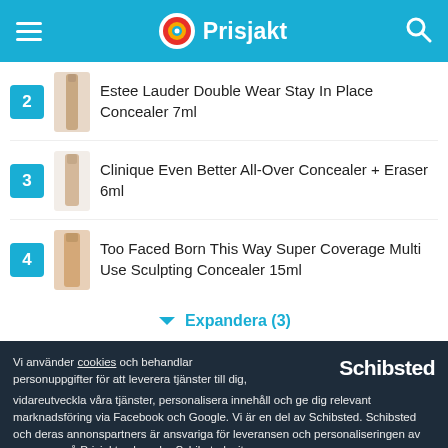Prisjakt
2 Estee Lauder Double Wear Stay In Place Concealer 7ml
3 Clinique Even Better All-Over Concealer + Eraser 6ml
4 Too Faced Born This Way Super Coverage Multi Use Sculpting Concealer 15ml
Expandera (3)
Vi använder cookies och behandlar personuppgifter för att leverera tjänster till dig, vidareutveckla våra tjänster, personalisera innehåll och ge dig relevant marknadsföring via Facebook och Google. Vi är en del av Schibsted. Schibsted och deras annonspartners är ansvariga för leveransen och personaliseringen av annonser på Prisjakt och andra Schibstedsajter.
Acceptera
Mina val